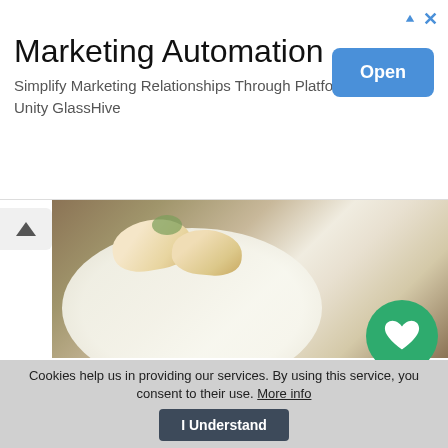[Figure (screenshot): Advertisement banner for Marketing Automation - GlassHive platform. Shows title 'Marketing Automation', subtitle text, and an Open button.]
Marketing Automation
Simplify Marketing Relationships Through Platform Unity GlassHive
[Figure (photo): Food photo showing dumplings/chicken in a white bowl on a wooden surface]
recipes
Slow Cooker Chicken and Dumplings
[Figure (other): 5-star rating shown with orange stars]
...whole bunch of hearty, great-tasting ingredients and let them do their magic! This particular dish has ... the added bonus of some really sumptuous dumplings that complement the tender, buttery chicken...
Cookies help us in providing our services. By using this service, you consent to their use. More info